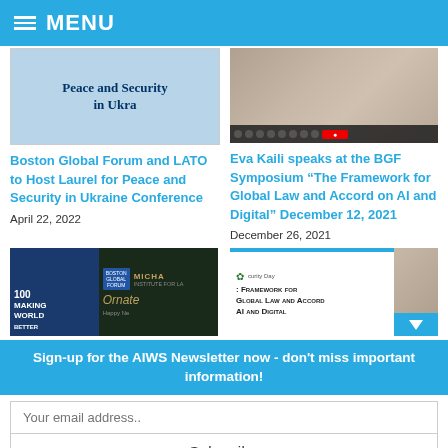MENU
[Figure (photo): Thumbnail showing 'Peace and Security in Ukra' text over a map background]
[Figure (photo): Video thumbnail of a woman speaking, with a video control bar at bottom]
Boston Global Forum and LATO to Host Laurel for Peace and Security in Ukraine Conference
April 22, 2022
Eva Kaili speaks at the BGF Symposium “The Framework for Global Law and Accord on AI and Digital” December 12, 2021
December 26, 2021
[Figure (photo): BGF event thumbnail with blue background showing 100, Making World, Boston Global Forum logo, Micha Institute for Law text, and ornamental text]
[Figure (photo): Framework for Global Law and Accord on AI and Digital thumbnail with security day logo and photo of speaker]
Sign-up for the AIWS Newsletter now - don't miss important information!
Your email address..
Subscribe